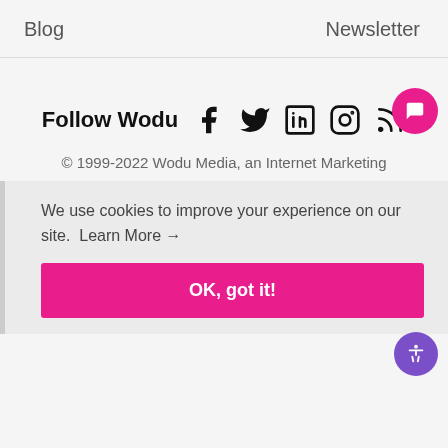Blog    Newsletter
Follow Wodu [Facebook] [Twitter] [LinkedIn] [Instagram] [RSS]
© 1999-2022 Wodu Media, an Internet Marketing
We use cookies to improve your experience on our site.  Learn More →
OK, got it!